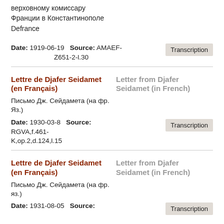верховному комиссару Франции в Константинополе Defrance
Date: 1919-06-19   Source: AMAEF-Z651-2-l.30
Lettre de Djafer Seidamet (en Français)   Letter from Djafer Seidamet (in French)
Письмо Дж. Сейдамета (на фр. Яз.)
Date: 1930-03-8   Source: RGVA,f.461-K,op.2,d.124,l.15
Lettre de Djafer Seidamet (en Français)   Letter from Djafer Seidamet (in French)
Письмо Дж. Сейдамета (на фр. яз.)
Date: 1931-08-05   Source: